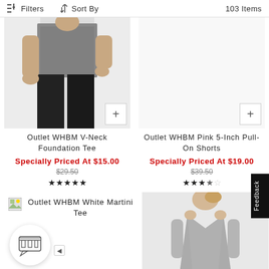Filters  Sort By  103 Items
[Figure (photo): Woman wearing grey patterned top with black pants, cropped at waist]
[Figure (photo): Placeholder image area for second product (pink shorts)]
Outlet WHBM V-Neck Foundation Tee
Specially Priced At $15.00
$29.50 (strikethrough)
★★★★★ (5 stars)
Outlet WHBM Pink 5-Inch Pull-On Shorts
Specially Priced At $19.00
$39.50 (strikethrough)
★★★½☆ (3.5 stars)
Outlet WHBM White Martini Tee
[Figure (photo): Woman wearing grey v-neck short sleeve t-shirt dress]